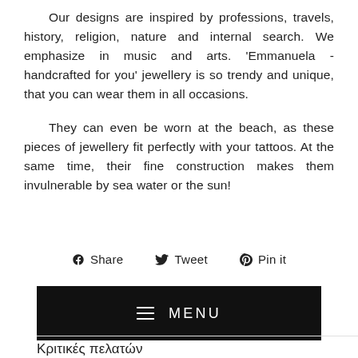Our designs are inspired by professions, travels, history, religion, nature and internal search. We emphasize in music and arts. 'Emmanuela - handcrafted for you' jewellery is so trendy and unique, that you can wear them in all occasions.
They can even be worn at the beach, as these pieces of jewellery fit perfectly with your tattoos. At the same time, their fine construction makes them invulnerable by sea water or the sun!
Share   Tweet   Pin it
MENU
Κριτικές πελατών